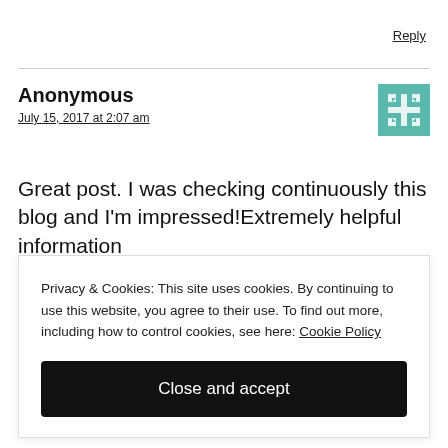Reply
Anonymous
July 15, 2017 at 2:07 am
Great post. I was checking continuously this blog and I'm impressed!Extremely helpful information
Privacy & Cookies: This site uses cookies. By continuing to use this website, you agree to their use. To find out more, including how to control cookies, see here: Cookie Policy
Close and accept